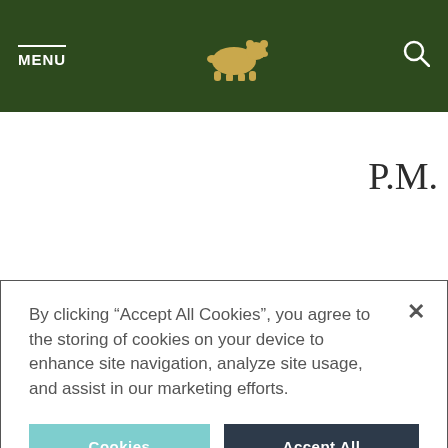MENU | [Bear Logo] | [Search Icon]
P.M.
7:30
P.M -
Golf
By clicking “Accept All Cookies”, you agree to the storing of cookies on your device to enhance site navigation, analyze site usage, and assist in our marketing efforts.
Cookies Settings
Accept All Cookies